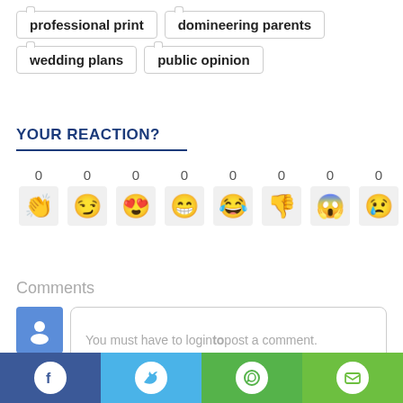professional print
domineering parents
wedding plans
public opinion
YOUR REACTION?
0 0 0 0 0 0 0 0 (reaction counts with emojis)
Comments
You must have to loginto post a comment.